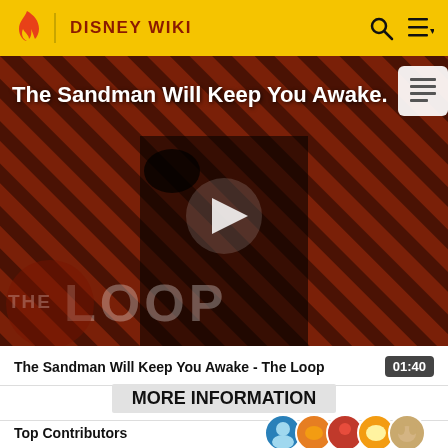DISNEY WIKI
[Figure (screenshot): Video thumbnail showing a figure in a black cape against a red diagonal striped background. Title overlay reads 'The Sandman Will Keep You Awake.' with a play button in the center and THE LOOP watermark at bottom left. A document icon appears top right.]
The Sandman Will Keep You Awake - The Loop  01:40
MORE INFORMATION
Top Contributors